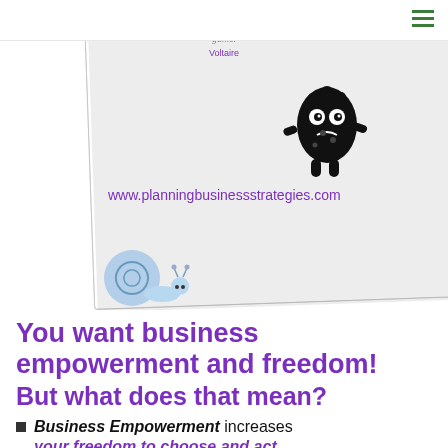[Figure (illustration): A polaroid-style card showing a quote attributed to Voltaire (partially visible at top), a monster cartoon illustration, the website URL www.planningbusinessstrategies.com in purple, and a blue snail illustration at the bottom left corner.]
You want business empowerment and freedom!
But what does that mean?
Business Empowerment increases
your freedom to choose and act...